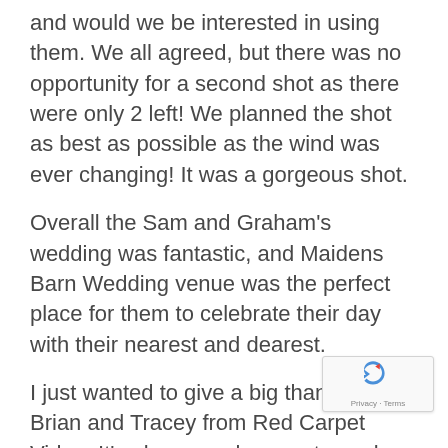and would we be interested in using them. We all agreed, but there was no opportunity for a second shot as there were only 2 left! We planned the shot as best as possible as the wind was ever changing! It was a gorgeous shot.
Overall the Sam and Graham's wedding was fantastic, and Maidens Barn Wedding venue was the perfect place for them to celebrate their day with their nearest and dearest.
I just wanted to give a big thank you to Brian and Tracey from Red Carpet Video. It's always a pleasure to work with videographers like yourselves. Great work.
https://redcarpetvideo.co.uk/